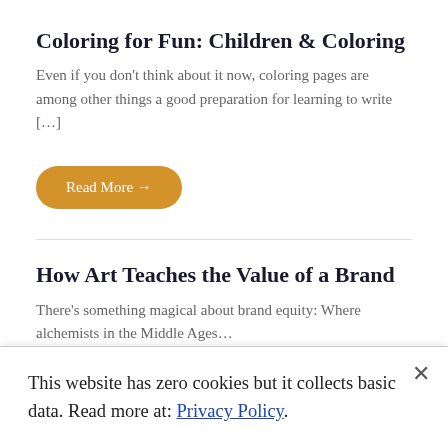Coloring for Fun: Children & Coloring
Even if you don't think about it now, coloring pages are among other things a good preparation for learning to write […]
Read More →
How Art Teaches the Value of a Brand
There's something magical about brand equity: Where alchemists in the Middle Ages…
This website has zero cookies but it collects basic data. Read more at: Privacy Policy.